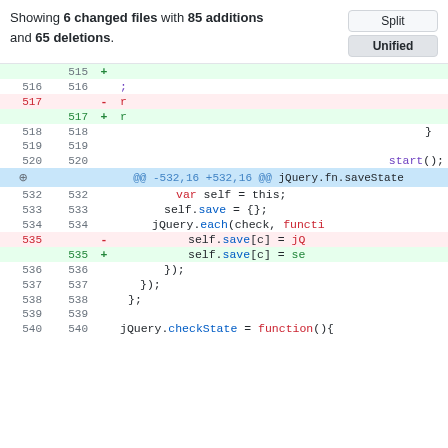Showing 6 changed files with 85 additions and 65 deletions.
| old | new | sign | code |
| --- | --- | --- | --- |
|  | 515 | + |  |
| 516 | 516 |  |  |
| 517 |  | - |  |
|  | 517 | + |  |
| 518 | 518 |  | } |
| 519 | 519 |  |  |
| 520 | 520 |  | start(); |
|  |  |  | @@ -532,16 +532,16 @@ jQuery.fn.saveState |
| 532 | 532 |  | var self = this; |
| 533 | 533 |  | self.save = {}; |
| 534 | 534 |  | jQuery.each(check, functi |
| 535 |  | - | self.save[c] = jQ |
|  | 535 | + | self.save[c] = se |
| 536 | 536 |  | }); |
| 537 | 537 |  | }); |
| 538 | 538 |  | }; |
| 539 | 539 |  |  |
| 540 | 540 |  | jQuery.checkState = function(){ |